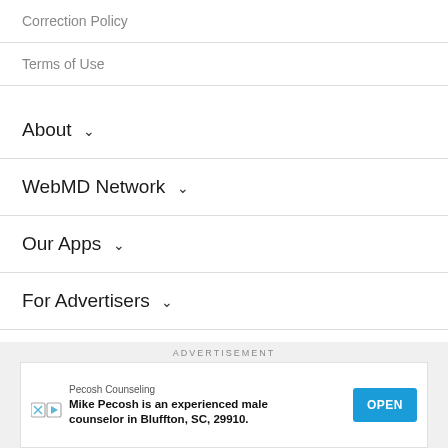Correction Policy
Terms of Use
About ∨
WebMD Network ∨
Our Apps ∨
For Advertisers ∨
ADVERTISEMENT
[Figure (other): Advertisement banner: Pecosh Counseling — Mike Pecosh is an experienced male counselor in Bluffton, SC, 29910. OPEN button.]